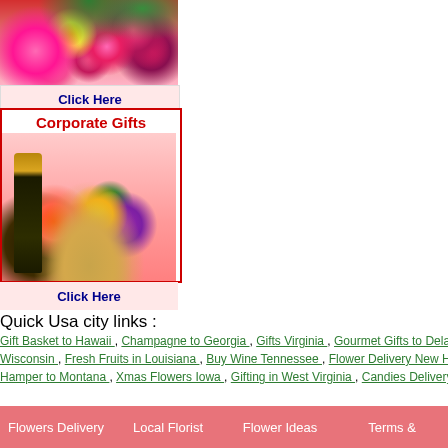[Figure (photo): Pink and magenta flower arrangement with gerbera daisies and lilies]
Click Here
[Figure (photo): Corporate Gifts banner with a gift basket containing champagne bottle and colorful flowers]
Click Here
Quick Usa city links :
Gift Basket to Hawaii , Champagne to Georgia , Gifts Virginia , Gourmet Gifts to Delaware , Wine D... Wisconsin , Fresh Fruits in Louisiana , Buy Wine Tennessee , Flower Delivery New Hampshire , Mo...
Hamper to Montana , Xmas Flowers Iowa , Gifting in West Virginia , Candies Delivery Michigan , Va...
Flowers Delivery   Local Florist   Flower Ideas   Terms &